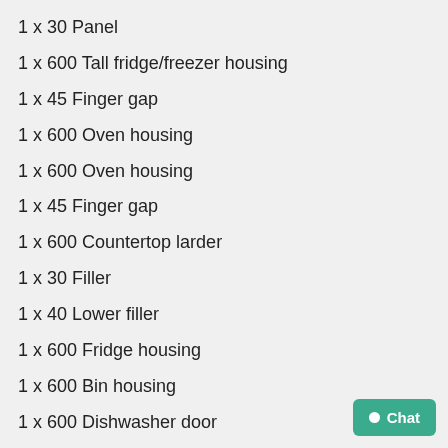1 x 30 Panel
1 x 600 Tall fridge/freezer housing
1 x 45 Finger gap
1 x 600 Oven housing
1 x 600 Oven housing
1 x 45 Finger gap
1 x 600 Countertop larder
1 x 30 Filler
1 x 40 Lower filler
1 x 600 Fridge housing
1 x 600 Bin housing
1 x 600 Dishwasher door
1 x 1200 Sink base/socket housing
1 x 600
1 x 600 @330d
1 x 600 @330d